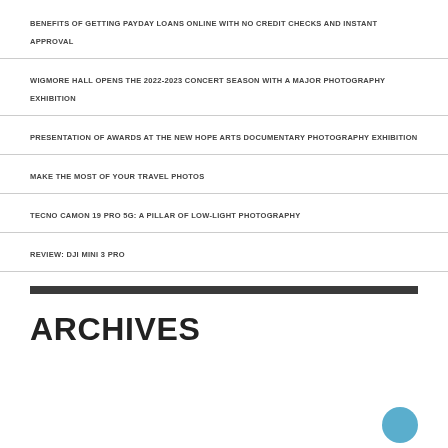BENEFITS OF GETTING PAYDAY LOANS ONLINE WITH NO CREDIT CHECKS AND INSTANT APPROVAL
WIGMORE HALL OPENS THE 2022-2023 CONCERT SEASON WITH A MAJOR PHOTOGRAPHY EXHIBITION
PRESENTATION OF AWARDS AT THE NEW HOPE ARTS DOCUMENTARY PHOTOGRAPHY EXHIBITION
MAKE THE MOST OF YOUR TRAVEL PHOTOS
TECNO CAMON 19 PRO 5G: A PILLAR OF LOW-LIGHT PHOTOGRAPHY
REVIEW: DJI MINI 3 PRO
ARCHIVES